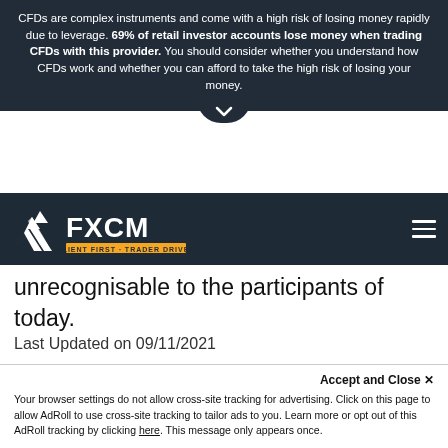CFDs are complex instruments and come with a high risk of losing money rapidly due to leverage. 69% of retail investor accounts lose money when trading CFDs with this provider. You should consider whether you understand how CFDs work and whether you can afford to take the high risk of losing your money.
[Figure (logo): FXCM logo with tagline CLIENT FIRST · TRADER DRIVEN on dark navigation bar]
unrecognisable to the participants of today.
Last Updated on 09/11/2021
[Figure (other): Social media share buttons: Facebook, Twitter, LinkedIn]
Accept and Close ✕
Your browser settings do not allow cross-site tracking for advertising. Click on this page to allow AdRoll to use cross-site tracking to tailor ads to you. Learn more or opt out of this AdRoll tracking by clicking here. This message only appears once.